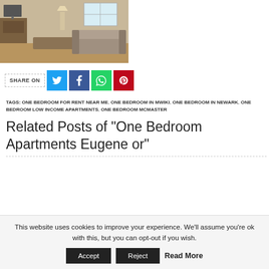[Figure (photo): Interior photo of a living room with a sofa, coffee table, lamp, and window]
SHARE ON [Twitter] [Facebook] [WhatsApp] [Pinterest]
TAGS: ONE BEDROOM FOR RENT NEAR ME, ONE BEDROOM IN MWIKI, ONE BEDROOM IN NEWARK, ONE BEDROOM LOW INCOME APARTMENTS, ONE BEDROOM MCMASTER
Related Posts of "One Bedroom Apartments Eugene or"
This website uses cookies to improve your experience. We'll assume you're ok with this, but you can opt-out if you wish. Accept Reject Read More